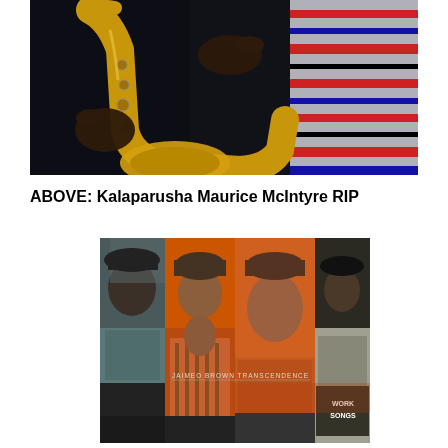[Figure (photo): A person holding a golden saxophone in dark setting with striped fabric visible on the right side]
ABOVE: Kalaparusha Maurice McIntyre RIP
[Figure (photo): Album cover showing collage of black and white and orange-tinted photographs of people, with text 'JAIMEO BROWN TRANSCENDENCE' and 'WORK SONGS']